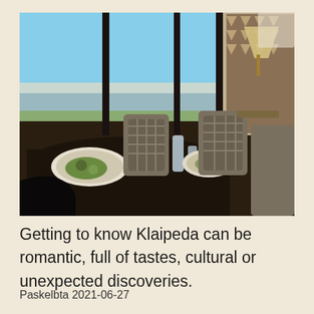[Figure (photo): Interior of a restaurant with floor-to-ceiling windows overlooking a waterfront/harbor. Dark dining table set with plates of food, glasses, and a water carafe. Wicker/rattan chairs. Decorative geometric patterned wall on the right. View of sea/bay and sky through large windows.]
Getting to know Klaipeda can be romantic, full of tastes, cultural or unexpected discoveries.
Paskelbta 2021-06-27